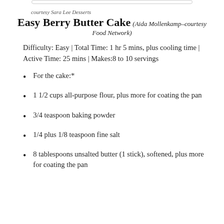courtesy Sara Lee Desserts
Easy Berry Butter Cake (Aida Mollenkamp–courtesy Food Network)
Difficulty: Easy | Total Time: 1 hr 5 mins, plus cooling time | Active Time: 25 mins | Makes:8 to 10 servings
For the cake:*
1 1/2 cups all-purpose flour, plus more for coating the pan
3/4 teaspoon baking powder
1/4 plus 1/8 teaspoon fine salt
8 tablespoons unsalted butter (1 stick), softened, plus more for coating the pan